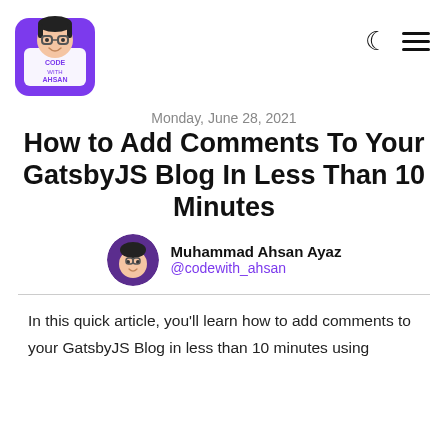[Figure (logo): Code With Ahsan logo: cartoon character with glasses and purple hoodie]
Monday, June 28, 2021
How to Add Comments To Your GatsbyJS Blog In Less Than 10 Minutes
Muhammad Ahsan Ayaz
@codewith_ahsan
In this quick article, you'll learn how to add comments to your GatsbyJS Blog in less than 10 minutes using